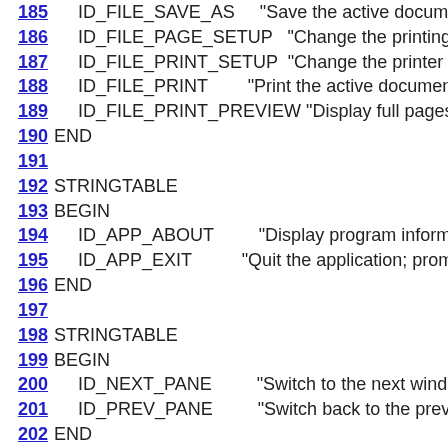185  ID_FILE_SAVE_AS      "Save the active document with a
186  ID_FILE_PAGE_SETUP    "Change the printing options\n
187  ID_FILE_PRINT_SETUP   "Change the printer and printin
188  ID_FILE_PRINT         "Print the active document\nPrint"
189  ID_FILE_PRINT_PREVIEW "Display full pages\nPrint Pr
190 END
191
192 STRINGTABLE
193 BEGIN
194  ID_APP_ABOUT         "Display program information, ver
195  ID_APP_EXIT           "Quit the application; prompts to sav
196 END
197
198 STRINGTABLE
199 BEGIN
200  ID_NEXT_PANE          "Switch to the next window pane\n
201  ID_PREV_PANE          "Switch back to the previous windo
202 END
203
204 STRINGTABLE